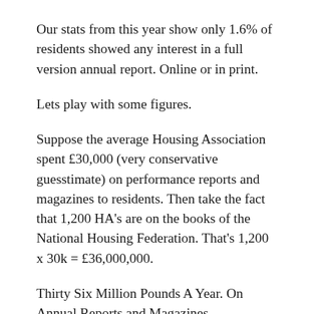Our stats from this year show only 1.6% of residents showed any interest in a full version annual report. Online or in print.
Lets play with some figures.
Suppose the average Housing Association spent £30,000 (very conservative guesstimate) on performance reports and magazines to residents. Then take the fact that 1,200 HA's are on the books of the National Housing Federation. That's 1,200 x 30k = £36,000,000.
Thirty Six Million Pounds A Year. On Annual Reports and Magazines.